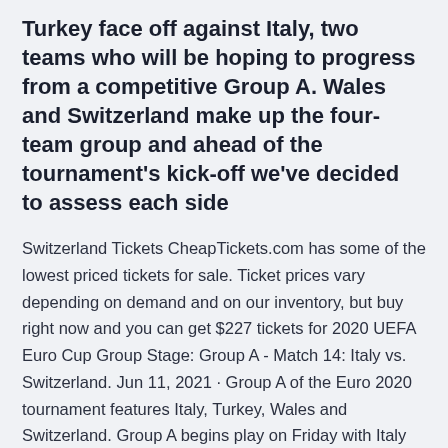Turkey face off against Italy, two teams who will be hoping to progress from a competitive Group A. Wales and Switzerland make up the four-team group and ahead of the tournament's kick-off we've decided to assess each side
Switzerland Tickets CheapTickets.com has some of the lowest priced tickets for sale. Ticket prices vary depending on demand and on our inventory, but buy right now and you can get $227 tickets for 2020 UEFA Euro Cup Group Stage: Group A - Match 14: Italy vs. Switzerland. Jun 11, 2021 · Group A of the Euro 2020 tournament features Italy, Turkey, Wales and Switzerland. Group A begins play on Friday with Italy taking on Turkey in the opener. Wales then plays